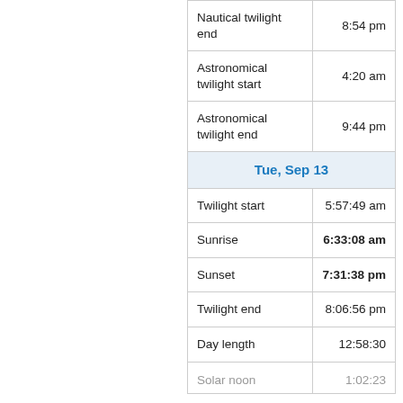| Event | Time |
| --- | --- |
| Nautical twilight end | 8:54 pm |
| Astronomical twilight start | 4:20 am |
| Astronomical twilight end | 9:44 pm |
| Tue, Sep 13 |  |
| Twilight start | 5:57:49 am |
| Sunrise | 6:33:08 am |
| Sunset | 7:31:38 pm |
| Twilight end | 8:06:56 pm |
| Day length | 12:58:30 |
| Solar noon | 1:02:23 |